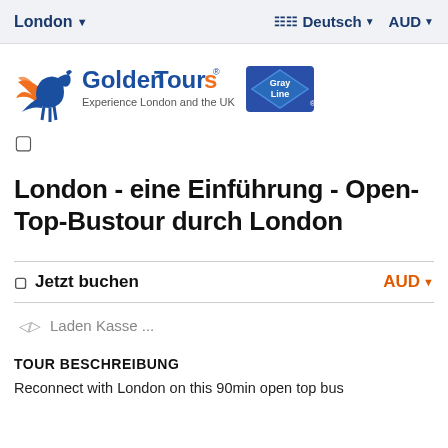London ▼   🌐 Deutsch ▼   AUD ▼
[Figure (logo): Golden Tours - Experience London and the UK, Gray Line logo with pegasus icon]
🔖
London - eine Einführung - Open-Top-Bustour durch London
🏷 Jetzt buchen    AUD ▼
🔄  Laden Kasse ...
TOUR BESCHREIBUNG
Reconnect with London on this 90min open top bus